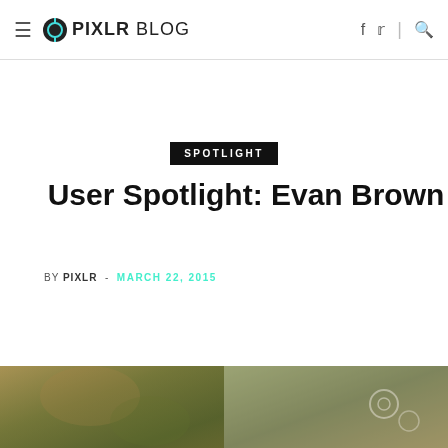PIXLR BLOG
SPOTLIGHT
User Spotlight: Evan Brown
BY PIXLR - MARCH 22, 2015
[Figure (photo): Two side-by-side photographic images at the bottom of the page, appearing to be artistic or nature photography with dark, muted tones.]